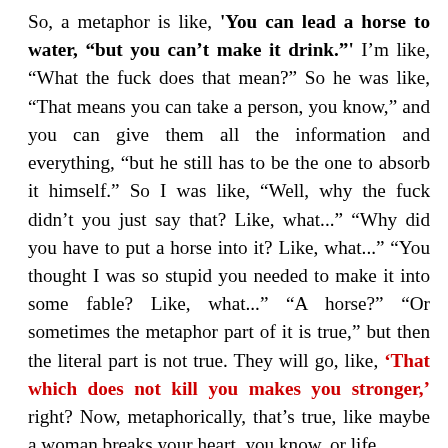So, a metaphor is like, 'You can lead a horse to water, "but you can't make it drink."' I'm like, "What the fuck does that mean?" So he was like, "That means you can take a person, you know," and you can give them all the information and everything, "but he still has to be the one to absorb it himself." So I was like, "Well, why the fuck didn't you just say that? Like, what..." "Why did you have to put a horse into it? Like, what..." "You thought I was so stupid you needed to make it into some fable? Like, what..." "A horse?" "Or sometimes the metaphor part of it is true," but then the literal part is not true. They will go, like, 'That which does not kill you makes you stronger,' right? Now, metaphorically, that's true, like maybe a woman breaks your heart, you know, or life